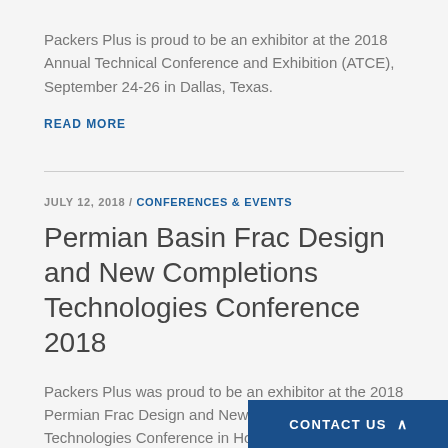Packers Plus is proud to be an exhibitor at the 2018 Annual Technical Conference and Exhibition (ATCE), September 24-26 in Dallas, Texas.
READ MORE
JULY 12, 2018 / CONFERENCES & EVENTS
Permian Basin Frac Design and New Completions Technologies Conference 2018
Packers Plus was proud to be an exhibitor at the 2018 Permian Frac Design and New Completions Technologies Conference in Houston during July 2018
CONTACT US